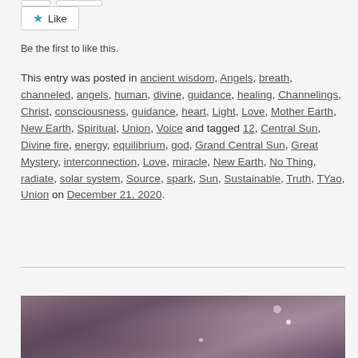[Figure (screenshot): Two grey rounded-rectangle button outlines at top of page]
[Figure (screenshot): Like button with blue star icon and text 'Like']
Be the first to like this.
This entry was posted in ancient wisdom, Angels, breath, channeled, angels, human, divine, guidance, healing, Channelings, Christ, consciousness, guidance, heart, Light, Love, Mother Earth, New Earth, Spiritual, Union, Voice and tagged 12, Central Sun, Divine fire, energy, equilibrium, god, Grand Central Sun, Great Mystery, interconnection, Love, miracle, New Earth, No Thing, radiate, solar system, Source, spark, Sun, Sustainable, Truth, TYao, Union on December 21, 2020.
[Figure (photo): Dark purple/mauve nature or crystal-like photograph with bokeh light spots]